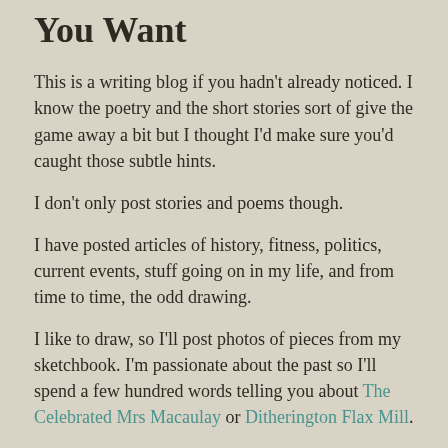You Want
This is a writing blog if you hadn't already noticed. I know the poetry and the short stories sort of give the game away a bit but I thought I'd make sure you'd caught those subtle hints.
I don't only post stories and poems though.
I have posted articles of history, fitness, politics, current events, stuff going on in my life, and from time to time, the odd drawing.
I like to draw, so I'll post photos of pieces from my sketchbook. I'm passionate about the past so I'll spend a few hundred words telling you about The Celebrated Mrs Macaulay or Ditherington Flax Mill.